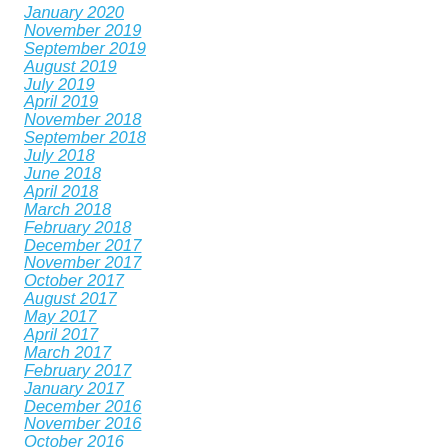January 2020
November 2019
September 2019
August 2019
July 2019
April 2019
November 2018
September 2018
July 2018
June 2018
April 2018
March 2018
February 2018
December 2017
November 2017
October 2017
August 2017
May 2017
April 2017
March 2017
February 2017
January 2017
December 2016
November 2016
October 2016
September 2016
August 2016
July 2016
June 2016
April 2016